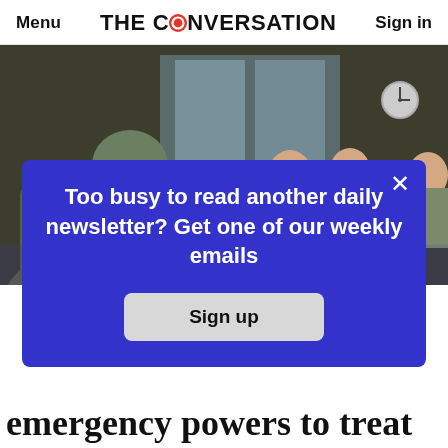Menu | THE CONVERSATION | Sign in
[Figure (photo): Military personnel in camouflage uniform facing a group of people wearing face masks, indoor setting with windows in background]
Too busy to read another daily newsletter? Get one of our weekly emails
Sign up
emergency powers to treat